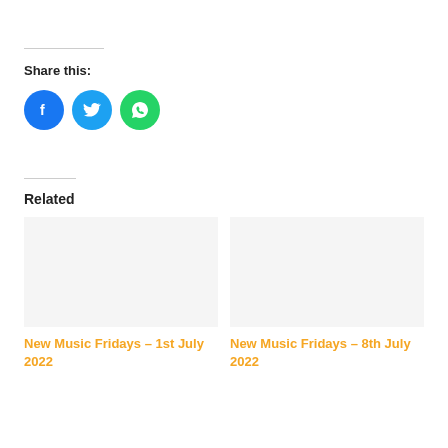Share this:
[Figure (illustration): Three social media share buttons: Facebook (blue circle with f icon), Twitter (blue circle with bird icon), WhatsApp (green circle with phone icon)]
Related
New Music Fridays – 1st July 2022
New Music Fridays – 8th July 2022